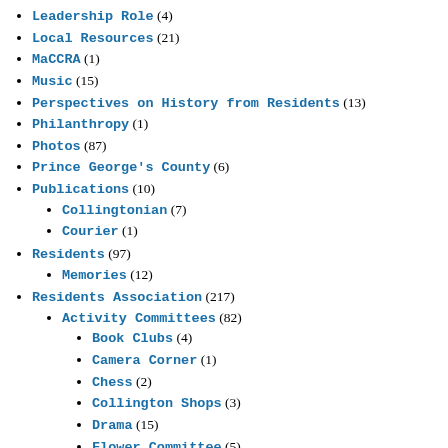Leadership Role (4)
Local Resources (21)
MaCCRA (1)
Music (15)
Perspectives on History from Residents (13)
Philanthropy (1)
Photos (87)
Prince George's County (6)
Publications (10)
Collingtonian (7)
Courier (1)
Residents (97)
Memories (12)
Residents Association (217)
Activity Committees (82)
Book Clubs (4)
Camera Corner (1)
Chess (2)
Collington Shops (3)
Drama (15)
Flower Committee (5)
Garden Committee (14)
Grounds Committee (10)
Hospitality (7)
Interfaith Chapel (6)